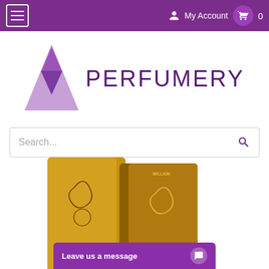My Account  0
[Figure (logo): Perfumery logo: purple mountain/triangle shape with inverted triangle, beside text PERFUMERY in purple]
Search...
[Figure (photo): Two gold Paco Rabanne 1 Million fragrance boxes side by side on white background]
1 Million by Paco Rabanne
Leave us a message